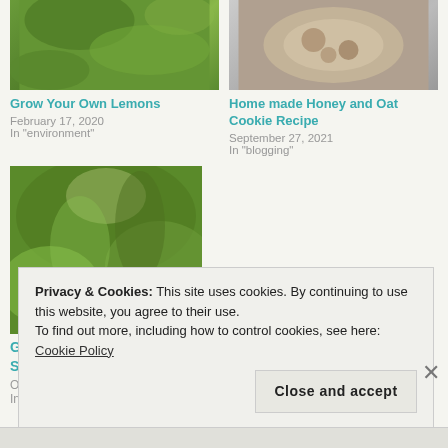[Figure (photo): Green plant/garden photo for Grow Your Own Lemons post]
Grow Your Own Lemons
February 17, 2020
In "environment"
[Figure (photo): Food/cookie photo for Home made Honey and Oat Cookie Recipe post]
Home made Honey and Oat Cookie Recipe
September 27, 2021
In "blogging"
[Figure (photo): Green plant/garden photo for Gardening with Alkaline Soils in Coastal Areas post]
Gardening with Alkaline Soils in Coastal Areas
October 7, 2020
In "blogging"
Privacy & Cookies: This site uses cookies. By continuing to use this website, you agree to their use.
To find out more, including how to control cookies, see here: Cookie Policy